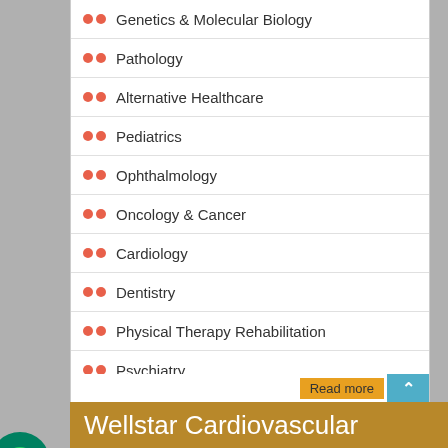Genetics & Molecular Biology
Pathology
Alternative Healthcare
Pediatrics
Ophthalmology
Oncology & Cancer
Cardiology
Dentistry
Physical Therapy Rehabilitation
Psychiatry
Infectious Diseases
Medical Ethics & Health Policies
Palliativecare
Reproductive Medicine & Women Healthcare
Surgery
Radiology
Read more
Wellstar Cardiovascular